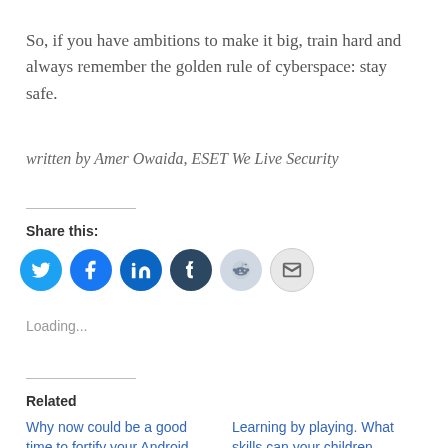So, if you have ambitions to make it big, train hard and always remember the golden rule of cyberspace: stay safe.
written by Amer Owaida, ESET We Live Security
Share this:
[Figure (infographic): Row of six circular social share buttons: Twitter (blue), Facebook (blue), LinkedIn (dark blue), Tumblr (dark navy), Reddit (light blue/grey), Email (light grey)]
Loading...
Related
Why now could be a good time to fortify your Android
Learning by playing. What skills can your children